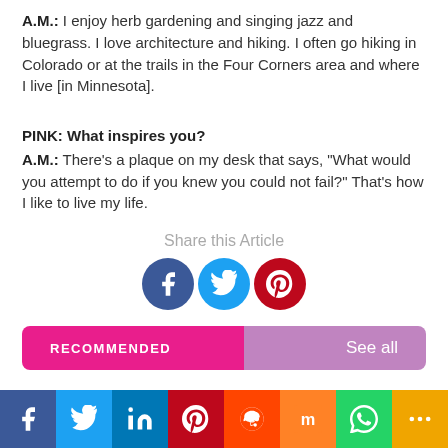A.M.: I enjoy herb gardening and singing jazz and bluegrass. I love architecture and hiking. I often go hiking in Colorado or at the trails in the Four Corners area and where I live [in Minnesota].
PINK: What inspires you?
A.M.: There’s a plaque on my desk that says, “What would you attempt to do if you knew you could not fail?” That’s how I like to live my life.
Share this Article
[Figure (infographic): Facebook, Twitter, Pinterest share buttons as colored circles with icons]
[Figure (infographic): RECOMMENDED bar with See all button]
[Figure (infographic): Bottom social sharing bar: Facebook, Twitter, LinkedIn, Pinterest, Reddit, Mix, WhatsApp, More]